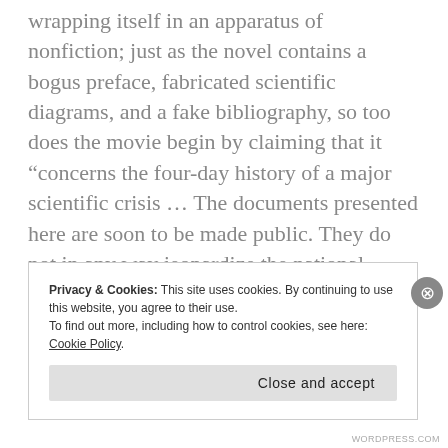wrapping itself in an apparatus of nonfiction; just as the novel contains a bogus preface, fabricated scientific diagrams, and a fake bibliography, so too does the movie begin by claiming that it “concerns the four-day history of a major scientific crisis … The documents presented here are soon to be made public. They do not in any way jeopardize the national security.” Taking this unusual step of setting science fiction in the very recent past here implies that official secrecy has
Privacy & Cookies: This site uses cookies. By continuing to use this website, you agree to their use.
To find out more, including how to control cookies, see here: Cookie Policy
Close and accept